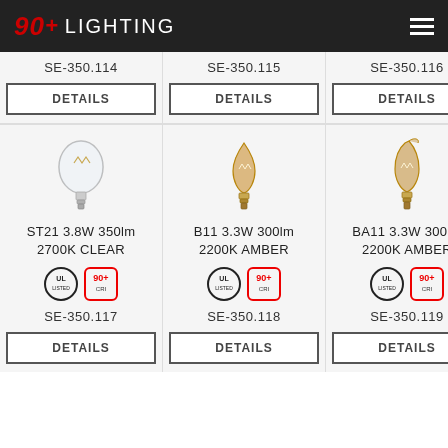90+ LIGHTING
SE-350.114
DETAILS
SE-350.115
DETAILS
SE-350.116
DETAILS
[Figure (photo): ST21 Edison-style clear LED filament bulb]
ST21 3.8W 350lm 2700K CLEAR
[Figure (logo): UL certification mark and 90+ CRI badge]
SE-350.117
DETAILS
[Figure (photo): B11 candle-style amber LED filament bulb]
B11 3.3W 300lm 2200K AMBER
[Figure (logo): UL certification mark and 90+ CRI badge]
SE-350.118
DETAILS
[Figure (photo): BA11 bent-tip candle amber LED filament bulb]
BA11 3.3W 300lm 2200K AMBER
[Figure (logo): UL certification mark and 90+ CRI badge]
SE-350.119
DETAILS